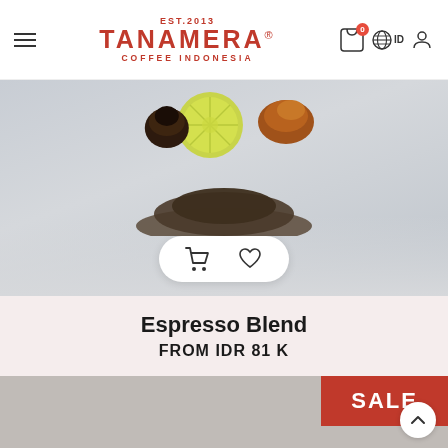EST.2013 TANAMERA® COFFEE INDONESIA
[Figure (photo): Product photo showing coffee grounds, a lime slice, dates, and dried fruit on a light gray background with add-to-cart and wishlist buttons overlay]
Espresso Blend
FROM IDR 81 K
[Figure (photo): Partial product card with gray background and a red SALE badge in the upper right corner]
SALE